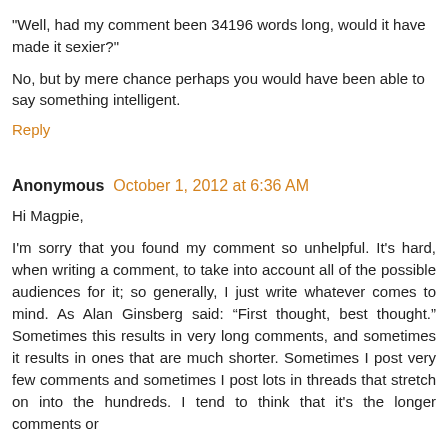"Well, had my comment been 34196 words long, would it have made it sexier?"
No, but by mere chance perhaps you would have been able to say something intelligent.
Reply
Anonymous October 1, 2012 at 6:36 AM
Hi Magpie,
I'm sorry that you found my comment so unhelpful. It's hard, when writing a comment, to take into account all of the possible audiences for it; so generally, I just write whatever comes to mind. As Alan Ginsberg said: “First thought, best thought.” Sometimes this results in very long comments, and sometimes it results in ones that are much shorter. Sometimes I post very few comments and sometimes I post lots in threads that stretch on into the hundreds. I tend to think that it's the longer comments or